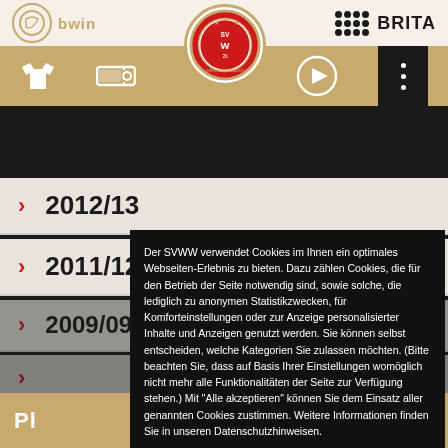[Figure (screenshot): SV Wehen Wiesbaden website header with bwin and BRITA sponsor logos, navigation bar with icons, season list rows for 2012/13 and 2011/12, a cookies consent overlay with text and buttons, and a gold bottom bar.]
2012/13
2011/12
Der SVWW verwendet Cookies im Ihnen ein optimales Webseiten-Erlebnis zu bieten. Dazu zählen Cookies, die für den Betrieb der Seite notwendig sind, sowie solche, die lediglich zu anonymen Statistikzwecken, für Komforteinstellungen oder zur Anzeige personalisierter Inhalte und Anzeigen genutzt werden. Sie können selbst entscheiden, welche Kategorien Sie zulassen möchten. (Bitte beachten Sie, dass auf Basis Ihrer Einstellungen womöglich nicht mehr alle Funktionalitäten der Seite zur Verfügung stehen.) Mit "Alle akzeptieren" können Sie dem Einsatz aller genannten Cookies zustimmen. Weitere Informationen finden Sie in unseren Datenschutzhinweisen.
Funktional   Statistiken   Marketing
Auswahl speichern   Alle akzeptieren